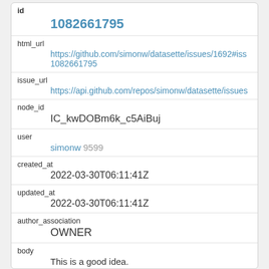| id | 1082661795 |
| html_url | https://github.com/simonw/datasette/issues/1692#iss
1082661795 |
| issue_url | https://api.github.com/repos/simonw/datasette/issues |
| node_id | IC_kwDOBm6k_c5AiBuj |
| user | simonw 9599 |
| created_at | 2022-03-30T06:11:41Z |
| updated_at | 2022-03-30T06:11:41Z |
| author_association | OWNER |
| body | This is a good idea. |